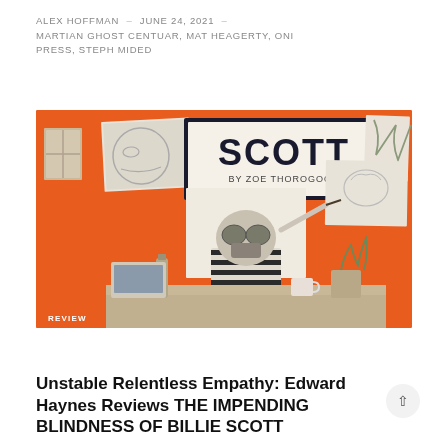ALEX HOFFMAN – JUNE 24, 2021 – MARTIAN GHOST CENTUAR, MAT HEAGERTY, ONI PRESS, STEPH MIDED
[Figure (illustration): Comic book cover illustration for 'The Impending Blindness of Billie Scott' showing a character in a gas mask and striped shirt painting at an easel in a cluttered room with an orange background. A banner reads 'SCOTT BY ZOE THOROGOOD'. A 'REVIEW' badge is in the lower left corner.]
Unstable Relentless Empathy: Edward Haynes Reviews THE IMPENDING BLINDNESS OF BILLIE SCOTT